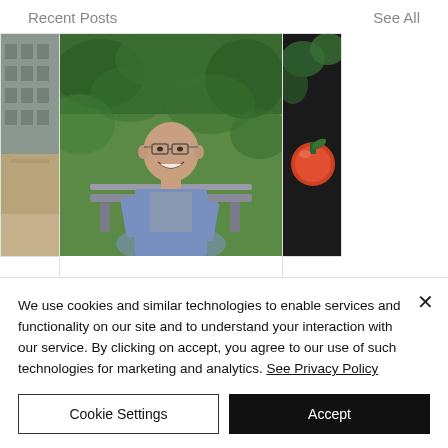Recent Posts        See All
[Figure (photo): Three partially visible blog post cards in a horizontal strip. Left partial card shows an architectural/building photo. Center card shows a man smiling outdoors on a bench in front of green foliage. Right partial card shows a dark illustration with fruit/vegetables.]
Anti-plastic-bottle Water Company...
We use cookies and similar technologies to enable services and functionality on our site and to understand your interaction with our service. By clicking on accept, you agree to our use of such technologies for marketing and analytics. See Privacy Policy